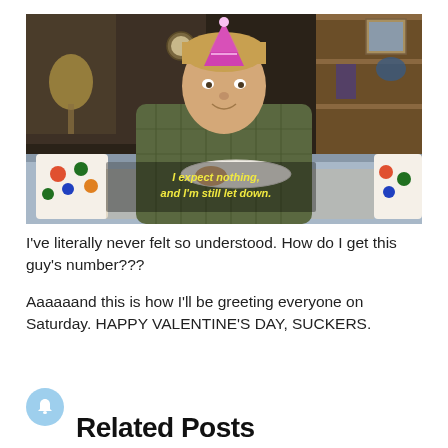[Figure (screenshot): TV show screenshot of a young boy wearing a party hat sitting at a table with polka-dot cups, with yellow subtitle text reading 'I expect nothing, and I'm still let down.']
I've literally never felt so understood. How do I get this guy's number???
Aaaaaand this is how I'll be greeting everyone on Saturday. HAPPY VALENTINE'S DAY, SUCKERS.
Related Posts